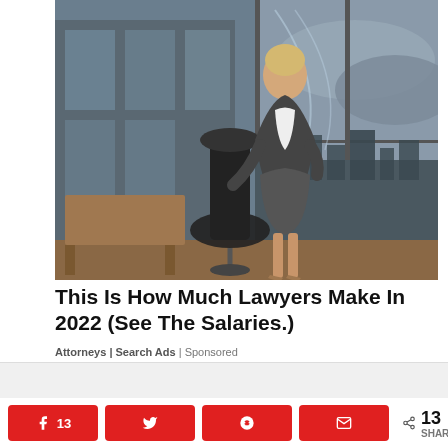[Figure (photo): A professional woman in business attire (dark blazer and pencil skirt) standing confidently in a modern office with floor-to-ceiling windows overlooking a city skyline. An executive chair and desk are visible.]
This Is How Much Lawyers Make In 2022 (See The Salaries.)
Attorneys | Search Ads | Sponsored
[Figure (screenshot): Partial advertisement showing 'AI Advertising' text with a dark mode toggle icon (moon) on the right and an X close button on the left.]
13  < 13 SHARES (social share bar with Facebook, Twitter, Reddit, and Email buttons)